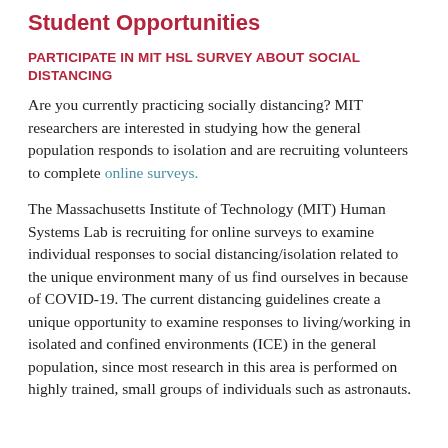Student Opportunities
PARTICIPATE IN MIT HSL SURVEY ABOUT SOCIAL DISTANCING
Are you currently practicing socially distancing? MIT researchers are interested in studying how the general population responds to isolation and are recruiting volunteers to complete online surveys.
The Massachusetts Institute of Technology (MIT) Human Systems Lab is recruiting for online surveys to examine individual responses to social distancing/isolation related to the unique environment many of us find ourselves in because of COVID-19. The current distancing guidelines create a unique opportunity to examine responses to living/working in isolated and confined environments (ICE) in the general population, since most research in this area is performed on highly trained, small groups of individuals such as astronauts.